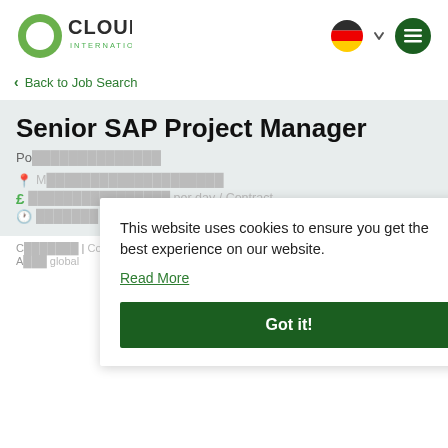[Figure (logo): Cloud International logo — green and grey circular C shape with CLOUD in bold dark text and INTERNATIONAL below in green]
[Figure (other): German flag circle icon with dropdown chevron and hamburger menu icon]
< Back to Job Search
Senior SAP Project Manager
Po
Munich (or similar partially obscured location text)
£ (partially obscured salary/rate text)
(partially obscured contract/type text)
Contact | Contact email
A... global | international.com
This website uses cookies to ensure you get the best experience on our website.
Read More
Got it!